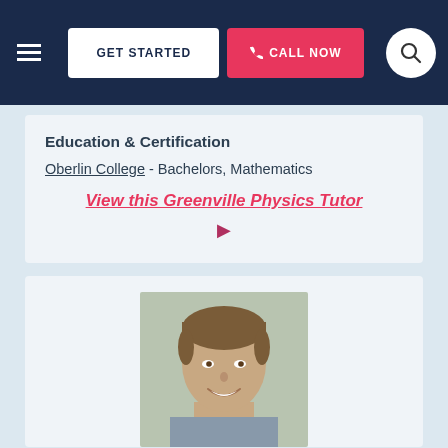GET STARTED | CALL NOW
Education & Certification
Oberlin College - Bachelors, Mathematics
View this Greenville Physics Tutor
[Figure (photo): Headshot photo of a young male tutor with short brown hair, smiling, against a light background.]